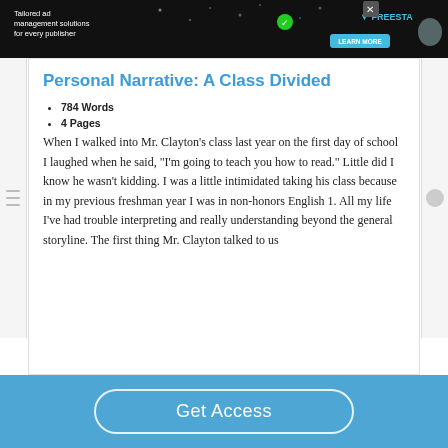[Figure (other): Advertisement banner for Freestar ad management solutions for publishers, dark background with illustrated figure]
Personal Narrative: A Class Divided
784 Words
4 Pages
When I walked into Mr. Clayton's class last year on the first day of school I laughed when he said, “I’m going to teach you how to read.” Little did I know he wasn’t kidding. I was a little intimidated taking his class because in my previous freshman year I was in non-honors English 1. All my life I’ve had trouble interpreting and really understanding beyond the general storyline. The first thing Mr. Clayton talked to us
Get Access